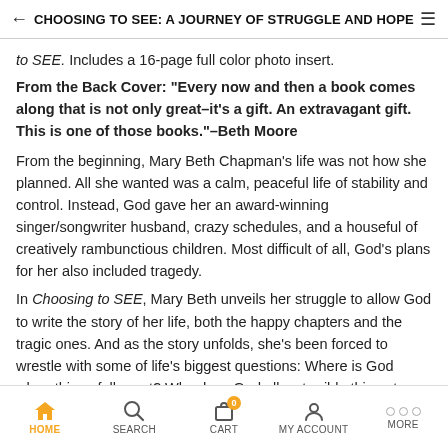CHOOSING TO SEE: A JOURNEY OF STRUGGLE AND HOPE
to SEE. Includes a 16-page full color photo insert.
From the Back Cover: "Every now and then a book comes along that is not only great–it's a gift. An extravagant gift. This is one of those books."–Beth Moore
From the beginning, Mary Beth Chapman's life was not how she planned. All she wanted was a calm, peaceful life of stability and control. Instead, God gave her an award-winning singer/songwriter husband, crazy schedules, and a houseful of creatively rambunctious children. Most difficult of all, God's plans for her also included tragedy.
In Choosing to SEE, Mary Beth unveils her struggle to allow God to write the story of her life, both the happy chapters and the tragic ones. And as the story unfolds, she's been forced to wrestle with some of life's biggest questions: Where is God when things fall apart? Why does God allow terrible things to happen?
HOME  SEARCH  CART  MY ACCOUNT  MORE